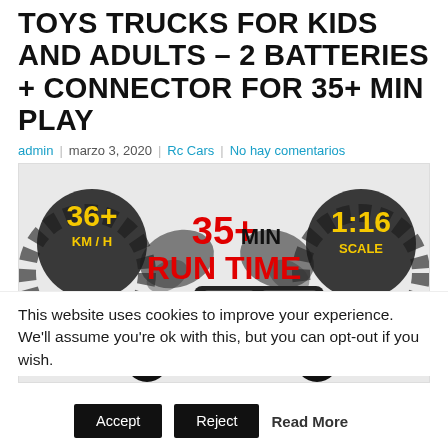TOYS TRUCKS FOR KIDS AND ADULTS – 2 BATTERIES + CONNECTOR FOR 35+ MIN PLAY
admin | marzo 3, 2020 | Rc Cars | No hay comentarios
[Figure (photo): RC truck promotional banner showing '36+ KM/H', '35+ MIN RUN TIME', '1:16 SCALE' with a black and yellow monster truck]
This website uses cookies to improve your experience. We'll assume you're ok with this, but you can opt-out if you wish.
Accept  Reject  Read More